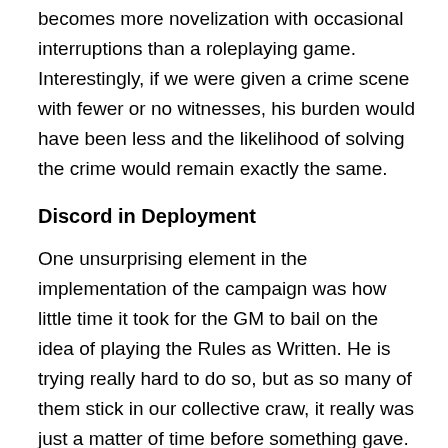becomes more novelization with occasional interruptions than a roleplaying game. Interestingly, if we were given a crime scene with fewer or no witnesses, his burden would have been less and the likelihood of solving the crime would remain exactly the same.
Discord in Deployment
One unsurprising element in the implementation of the campaign was how little time it took for the GM to bail on the idea of playing the Rules as Written. He is trying really hard to do so, but as so many of them stick in our collective craw, it really was just a matter of time before something gave. The first to go was the idea of having a storyboard of scenes prepared with clues designed to take characters from one pre-envisioned scene to the next. The GM explained during the first investment of points for an